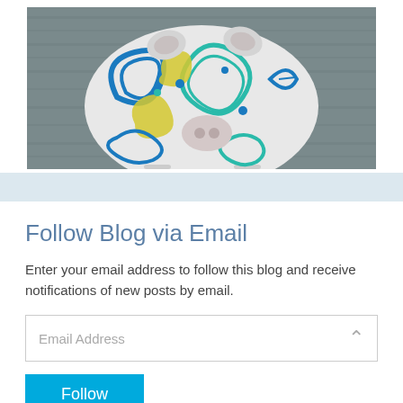[Figure (photo): Decorative ceramic pig with colorful blue, yellow, teal, and green floral patterns on white background]
Follow Blog via Email
Enter your email address to follow this blog and receive notifications of new posts by email.
Email Address
Follow